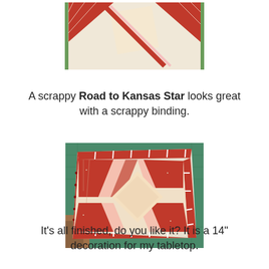[Figure (photo): Top portion of a Road to Kansas Star quilt block with cream/beige background and red patchwork star design, lying on a white surface, partially cropped]
A scrappy Road to Kansas Star looks great with a scrappy binding.
[Figure (photo): A completed 14-inch Road to Kansas Star quilt block with scrappy red-and-white patchwork binding, red and cream fabrics forming a star pattern, placed on a green cutting mat on a wooden table]
It's all finished, do you like it?  It is a 14" decoration for my tabletop.